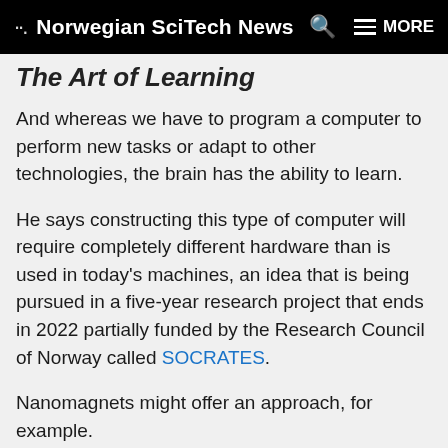Norwegian SciTech News
The Art of Learning
And whereas we have to program a computer to perform new tasks or adapt to other technologies, the brain has the ability to learn.
He says constructing this type of computer will require completely different hardware than is used in today's machines, an idea that is being pursued in a five-year research project that ends in 2022 partially funded by the Research Council of Norway called SOCRATES.
Nanomagnets might offer an approach, for example.
"Magnets are easy to make, and they're easy to scale because they're so simple and require little energy. By enabling self-organization, we aren't dependent on the individual component. One or more components can